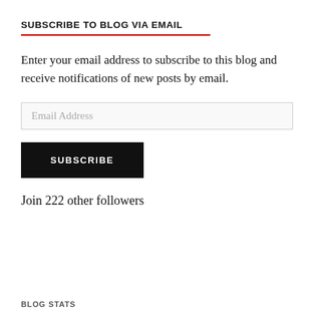SUBSCRIBE TO BLOG VIA EMAIL
Enter your email address to subscribe to this blog and receive notifications of new posts by email.
Email Address
SUBSCRIBE
Join 222 other followers
BLOG STATS